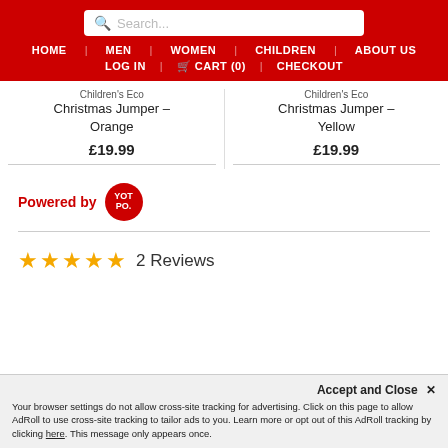HOME | MEN | WOMEN | CHILDREN | ABOUT US | LOG IN | CART (0) | CHECKOUT
Children's Eco Christmas Jumper - Orange
£19.99
Children's Eco Christmas Jumper - Yellow
£19.99
[Figure (logo): Powered by YOTPO logo badge]
★★★★★ 2 Reviews
Accept and Close ✕
Your browser settings do not allow cross-site tracking for advertising. Click on this page to allow AdRoll to use cross-site tracking to tailor ads to you. Learn more or opt out of this AdRoll tracking by clicking here. This message only appears once.